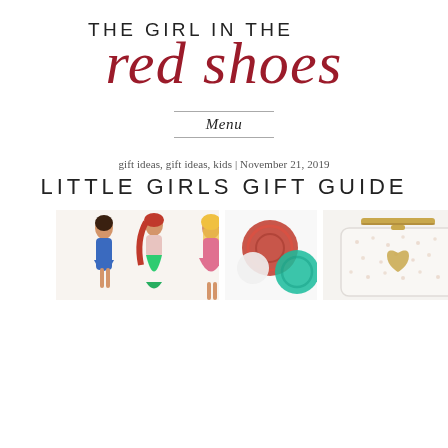THE GIRL IN THE red shoes
Menu
gift ideas, gift ideas, kids | November 21, 2019
LITTLE GIRLS GIFT GUIDE
[Figure (photo): Three Disney princess dolls (Belle, Ariel, Barbie-style), a red and teal pom-pom ornament, and a white polka-dot purse with gold clasp and heart detail]